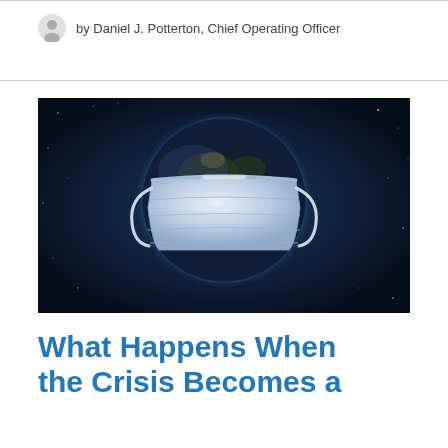by Daniel J. Potterton, Chief Operating Officer
[Figure (photo): A globe/Earth wearing a surgical face mask against a dark starry space background, illustrating the global COVID-19 pandemic.]
What Happens When the Crisis Becomes a